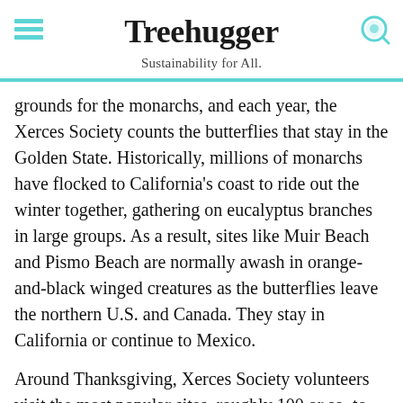Treehugger — Sustainability for All.
grounds for the monarchs, and each year, the Xerces Society counts the butterflies that stay in the Golden State. Historically, millions of monarchs have flocked to California's coast to ride out the winter together, gathering on eucalyptus branches in large groups. As a result, sites like Muir Beach and Pismo Beach are normally awash in orange-and-black winged creatures as the butterflies leave the northern U.S. and Canada. They stay in California or continue to Mexico.
Around Thanksgiving, Xerces Society volunteers visit the most popular sites, roughly 100 or so, to collect a
[Figure (infographic): Advertisement banner: dark background with text 'We help people find answers, solve problems and get inspired.' with Dotdash Meredith logo]